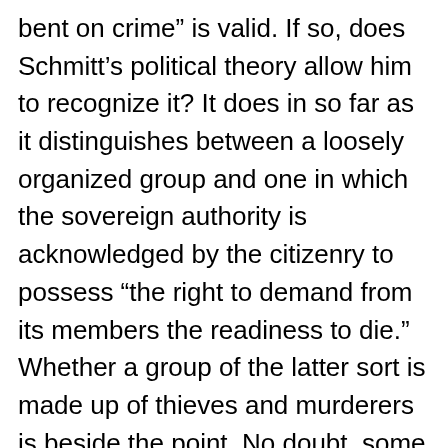bent on crime” is valid. If so, does Schmitt’s political theory allow him to recognize it? It does in so far as it distinguishes between a loosely organized group and one in which the sovereign authority is acknowledged by the citizenry to possess “the right to demand from its members the readiness to die.” Whether a group of the latter sort is made up of thieves and murderers is beside the point. No doubt, some states have been largely concerned with the pursuit of murder and thievery. Such states are deplorable. But they are states nonetheless. Schmitt is